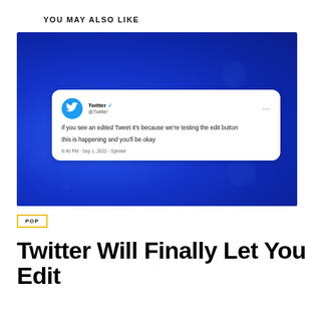YOU MAY ALSO LIKE
[Figure (screenshot): Screenshot of a Twitter post on a blue background. The tweet is from the verified @Twitter account and reads: 'if you see an edited Tweet it's because we're testing the edit button

this is happening and you'll be okay' timestamped '8:40 PM · Sep 1, 2022 · Sprinklr']
POP
Twitter Will Finally Let You Edit